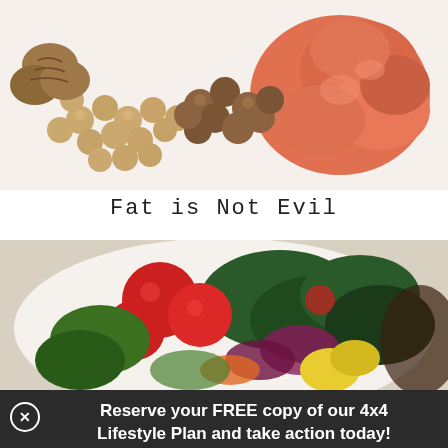[Figure (photo): Food photo showing nuts, chickpeas, hazelnuts, and sliced salmon on a white surface]
Fat is Not Evil
[Figure (photo): Close-up photo of a colorful salad with tomatoes, red onion, kale, lemon, and other vegetables on a white plate]
Reserve your FREE copy of our 4x4 Lifestyle Plan and take action today!
First Name*
Last Name
Email*
I'M READY